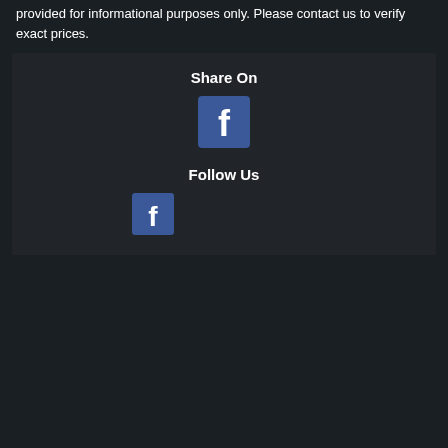provided for informational purposes only. Please contact us to verify exact prices.
Share On
[Figure (logo): Facebook logo icon - blue square with white 'f' letter, large size]
Follow Us
[Figure (logo): Facebook logo icon - blue square with white 'f' letter, medium size]